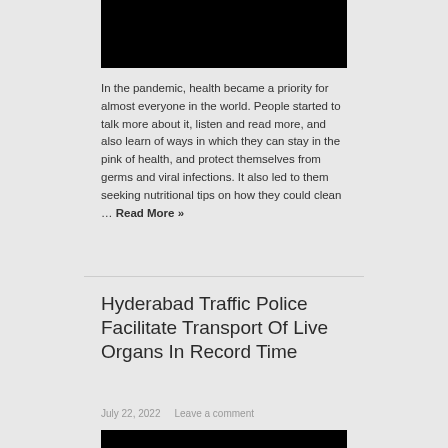[Figure (photo): Black image placeholder at top of article]
In the pandemic, health became a priority for almost everyone in the world. People started to talk more about it, listen and read more, and also learn of ways in which they can stay in the pink of health, and protect themselves from germs and viral infections. It also led to them seeking nutritional tips on how they could clean … Read More »
Hyderabad Traffic Police Facilitate Transport Of Live Organs In Record Time
July 22, 2022   Leave a comment
[Figure (photo): Black image placeholder at bottom of second article]